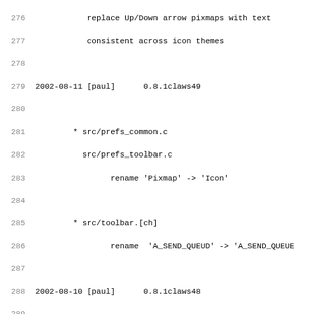275 (truncated line)
276     replace Up/Down arrow pixmaps with text
277     consistent across icon themes
278
279 2002-08-11 [paul]      0.8.1claws49
280
281     * src/prefs_common.c
282       src/prefs_toolbar.c
283             rename 'Pixmap' -> 'Icon'
284
285     * src/toolbar.[ch]
286             rename  'A_SEND_QUEUD' -> 'A_SEND_QUEUE
287
288 2002-08-10 [paul]      0.8.1claws48
289
290     * src/prefs_toolbar.c
291             re-work the UI
292
293 2002-08-10 [paul]      0.8.1claws47
294
295     * src/main.c
296             don't write Processing progress to stat
297             patch submitted by Alexander Evseev
298
299     * src/prefs_toolbar.c
300             re-position and resize window
301             make window assume correct size on firs
302
303 2002-08-10 [paul]      0.8.1claws46
304
305     * src/mainwindow.c
306       src/prefs_toolbar.c
307       src/toolbar.c